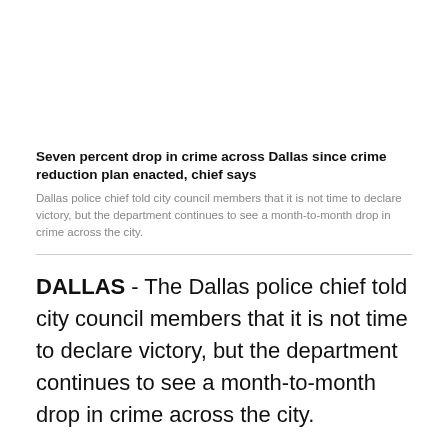Seven percent drop in crime across Dallas since crime reduction plan enacted, chief says
Dallas police chief told city council members that it is not time to declare victory, but the department continues to see a month-to-month drop in crime across the city.
DALLAS - The Dallas police chief told city council members that it is not time to declare victory, but the department continues to see a month-to-month drop in crime across the city.
The results of the crime reduction plan so far -- a more